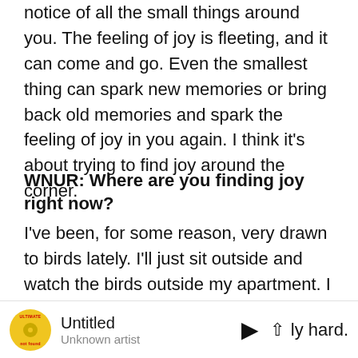notice of all the small things around you. The feeling of joy is fleeting, and it can come and go. Even the smallest thing can spark new memories or bring back old memories and spark the feeling of joy in you again. I think it's about trying to find joy around the corner.
WNUR: Where are you finding joy right now?
I've been, for some reason, very drawn to birds lately. I'll just sit outside and watch the birds outside my apartment. I think they're so fascinating. I go into my head. I'm like, I wonder where that bird has been, what journey that bird has been on. I'd say just being outside in nature as [really hard].
[Figure (other): Media player bar showing album art (yellow vinyl record with orange label), title 'Untitled', artist 'Unknown artist', play button and chevron controls, and partial text 'lly hard.']